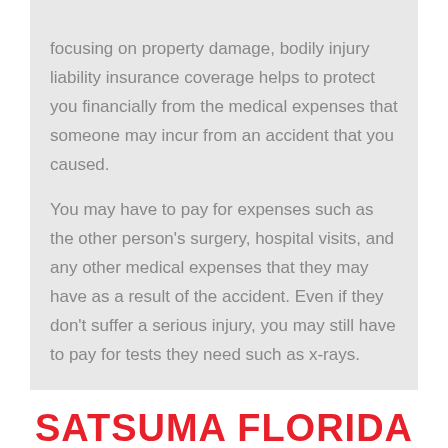focusing on property damage, bodily injury liability insurance coverage helps to protect you financially from the medical expenses that someone may incur from an accident that you caused.

You may have to pay for expenses such as the other person's surgery, hospital visits, and any other medical expenses that they may have as a result of the accident. Even if they don't suffer a serious injury, you may still have to pay for tests they need such as x-rays.
SATSUMA FLORIDA MEDICAL PAYMENT